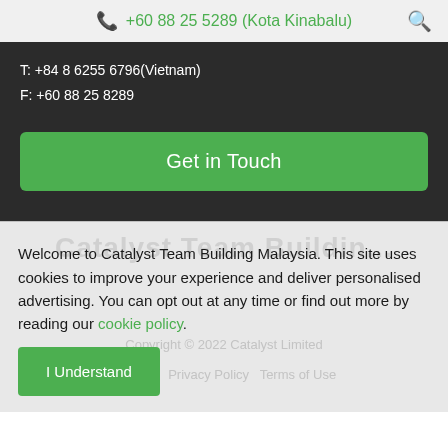+60 88 25 5289 (Kota Kinabalu)
T: +84 8 6255 6796(Vietnam)
F: +60 88 25 8289
Get in Touch
Welcome to Catalyst Team Building Malaysia. This site uses cookies to improve your experience and deliver personalised advertising. You can opt out at any time or find out more by reading our cookie policy.
I Understand